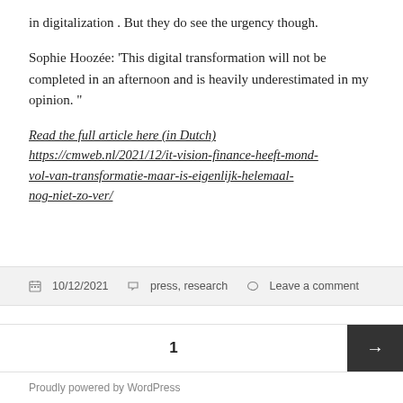in digitalization . But they do see the urgency though.
Sophie Hoozée: ‘This digital transformation will not be completed in an afternoon and is heavily underestimated in my opinion. ”
Read the full article here (in Dutch) https://cmweb.nl/2021/12/it-vision-finance-heeft-mond-vol-van-transformatie-maar-is-eigenlijk-helemaal-nog-niet-zo-ver/
10/12/2021   press, research   Leave a comment
1
Proudly powered by WordPress